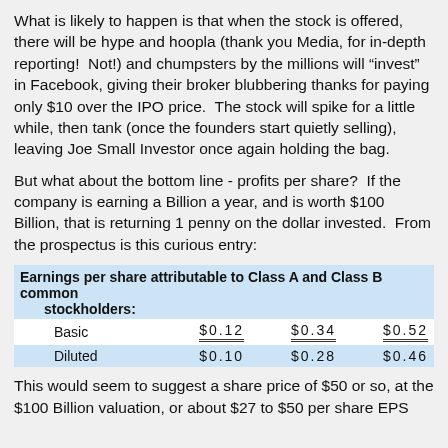What is likely to happen is that when the stock is offered, there will be hype and hoopla (thank you Media, for in-depth reporting!  Not!) and chumpsters by the millions will "invest" in Facebook, giving their broker blubbering thanks for paying only $10 over the IPO price.  The stock will spike for a little while, then tank (once the founders start quietly selling), leaving Joe Small Investor once again holding the bag.
But what about the bottom line - profits per share?  If the company is earning a Billion a year, and is worth $100 Billion, that is returning 1 penny on the dollar invested.  From the prospectus is this curious entry:
| Earnings per share attributable to Class A and Class B common stockholders: |  |  |  |
| --- | --- | --- | --- |
| Basic | $0.12 | $0.34 | $0.52 |
| Diluted | $0.10 | $0.28 | $0.46 |
This would seem to suggest a share price of $50 or so, at the $100 Billion valuation, or about $27 to $50 per share EPS